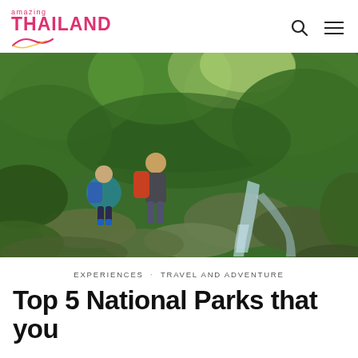amazing THAILAND
[Figure (photo): Two hikers with large backpacks resting on moss-covered rocks beside a cascading waterfall in a lush green tropical forest in Thailand]
EXPERIENCES · TRAVEL AND ADVENTURE
Top 5 National Parks that you